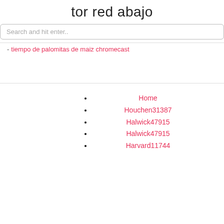tor red abajo
Search and hit enter..
tiempo de palomitas de maiz chromecast
Home
Houchen31387
Halwick47915
Halwick47915
Harvard11744